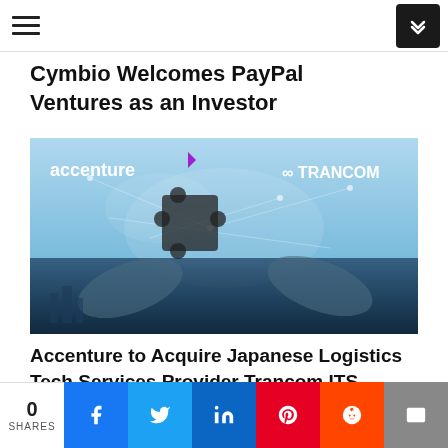Cymbio Welcomes PayPal Ventures as an Investor
[Figure (photo): Partnership image showing two hands connecting puzzle pieces with Accenture and Trancom ITS logos overlaid on a world map background with digital network connections]
Accenture to Acquire Japanese Logistics Tech Services Provider Trancom ITS
0 SHARES | Social sharing buttons: Facebook, Twitter, LinkedIn, Pinterest, Reddit, Email